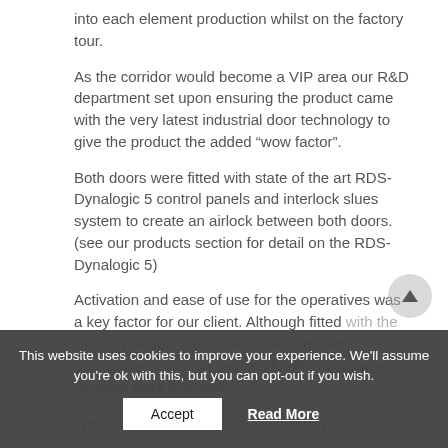into each element production whilst on the factory tour.
As the corridor would become a VIP area our R&D department set upon ensuring the product came with the very latest industrial door technology to give the product the added “wow factor”.
Both doors were fitted with state of the art RDS-Dynalogic 5 control panels and interlock slues system to create an airlock between both doors. (see our products section for detail on the RDS-Dynalogic 5)
Activation and ease of use for the operatives was a key factor for our client. Although fitted with the RDS-Dynalogic 5 our client also required accessible activation devices for the doors when vehicles were in transit.
We installed ... with mushroom push